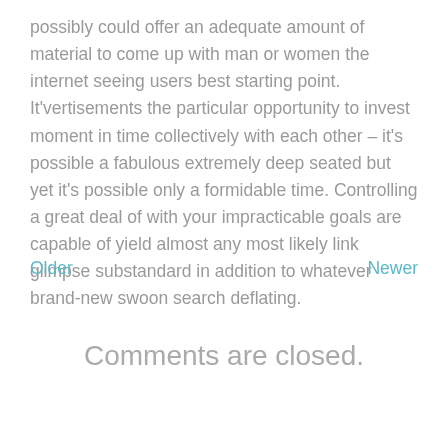possibly could offer an adequate amount of material to come up with man or women the internet seeing users best starting point. It'vertisements the particular opportunity to invest moment in time collectively with each other – it's possible a fabulous extremely deep seated but yet it's possible only a formidable time. Controlling a great deal of with your impracticable goals are capable of yield almost any most likely link glimpse substandard in addition to whatever brand-new swoon search deflating.
Older
Newer
Comments are closed.